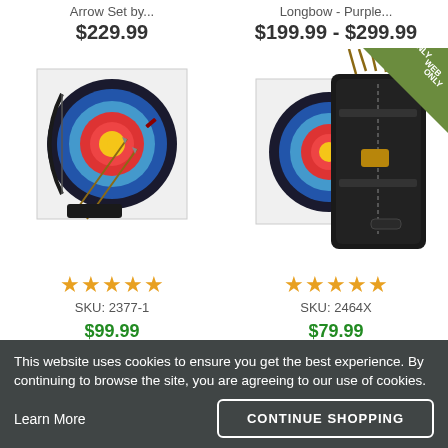Arrow Set by...
$229.99
Longbow - Purple...
$199.99 - $299.99
[Figure (photo): Archery bow and arrow set laid on a target face]
[Figure (photo): Arrow quiver/case set with arrows on a target face, with WEB ONLY badge]
★★★★★
SKU: 2377-1
★★★★★
SKU: 2464X
$99.99
$79.99
This website uses cookies to ensure you get the best experience. By continuing to browse the site, you are agreeing to our use of cookies.
Learn More
CONTINUE SHOPPING